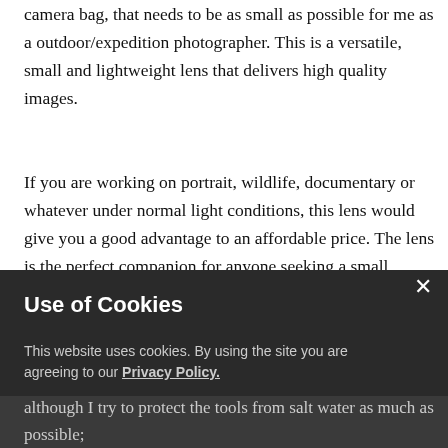camera bag, that needs to be as small as possible for me as a outdoor/expedition photographer. This is a versatile, small and lightweight lens that delivers high quality images.
If you are working on portrait, wildlife, documentary or whatever under normal light conditions, this lens would give you a good advantage to an affordable price. The lens is the perfect companion for anyone seeking a small reliable telezoom lens if you need to get real close as well as the bigger picture.
Fujifilm has made the XF70-300 weather resistant, and that is of highest importance to my sort of use. On the ocean, I don't need to worry too much for spray from the waves, although I try to protect the tools from salt water as much as possible;
Use of Cookies
This website uses cookies. By using the site you are agreeing to our Privacy Policy.